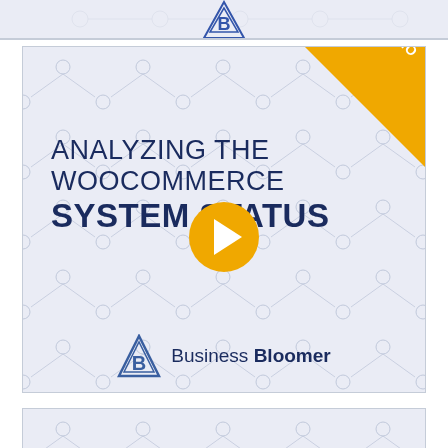[Figure (screenshot): Partial top strip showing Business Bloomer logo at top of page]
[Figure (screenshot): Video thumbnail for 'Analyzing the WooCommerce System Status' with a VIDEO badge in the top-right corner, a play button in the center, the title text in navy/dark blue, and the Business Bloomer logo at the bottom]
[Figure (screenshot): Partial bottom strip/card edge visible at the bottom of the page]